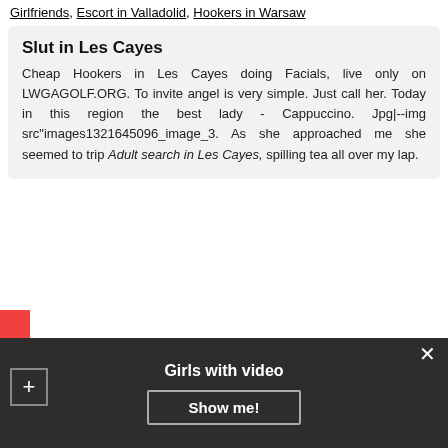Girlfriends, Escort in Valladolid, Hookers in Warsaw
Slut in Les Cayes
Cheap Hookers in Les Cayes doing Facials, live only on LWGAGOLF.ORG. To invite angel is very simple. Just call her. Today in this region the best lady - Cappuccino. Jpg|--img src"images1321645096_image_3. As she approached me she seemed to trip Adult search in Les Cayes, spilling tea all over my lap.
Home
TOP30
Trans
Sex map
Dating
Girls with video
Show me!